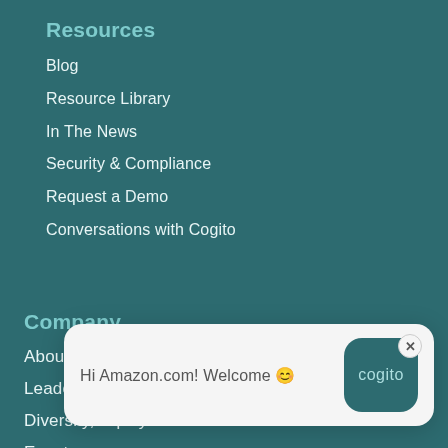Resources
Blog
Resource Library
In The News
Security & Compliance
Request a Demo
Conversations with Cogito
Company
About Us
Leadership Team
Diversity, Equity & Inclusion
Events
Careers
Press
[Figure (screenshot): Cogito chat widget popup showing 'Hi Amazon.com! Welcome 😊' message with Cogito branded button and close (×) button]